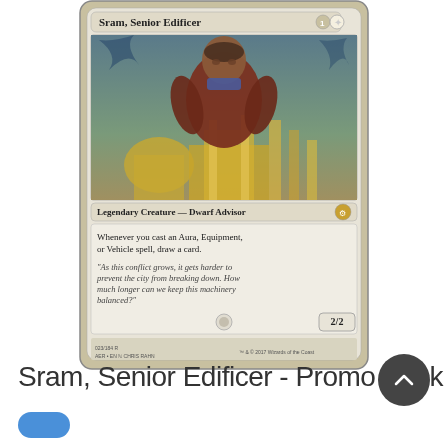[Figure (illustration): Magic: The Gathering card named 'Sram, Senior Edificer'. Shows a Dwarf Advisor legendary creature card. Card art depicts a dwarf character surrounded by golden city architecture. Card text reads: Whenever you cast an Aura, Equipment, or Vehicle spell, draw a card. Flavor text: 'As this conflict grows, it gets harder to prevent the city from breaking down. How much longer can we keep this machinery balanced?' Power/Toughness: 2/2. Card number 023/184 R, AER EN, art by Chris Rahn. TM & C 2017 Wizards of the Coast.]
Sram, Senior Edificer - Promo Pack